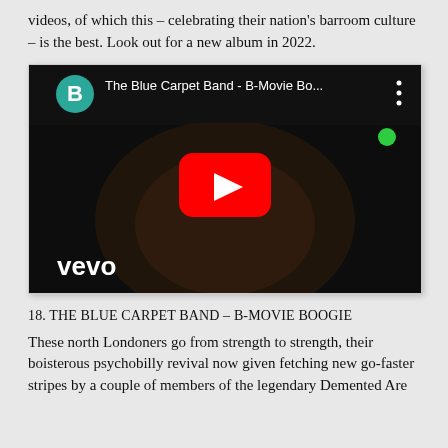videos, of which this – celebrating their nation's barroom culture – is the best. Look out for a new album in 2022.
[Figure (screenshot): YouTube video embed showing The Blue Carpet Band - B-Movie Bo... with a play button overlay, vevo logo at bottom left, and teal B icon in top left corner]
18. THE BLUE CARPET BAND – B-MOVIE BOOGIE
These north Londoners go from strength to strength, their boisterous psychobilly revival now given fetching new go-faster stripes by a couple of members of the legendary Demented Are